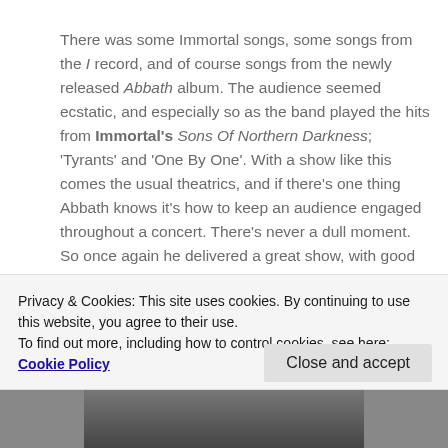There was some Immortal songs, some songs from the I record, and of course songs from the newly released Abbath album. The audience seemed ecstatic, and especially so as the band played the hits from Immortal's Sons Of Northern Darkness; 'Tyrants' and 'One By One'. With a show like this comes the usual theatrics, and if there's one thing Abbath knows it's how to keep an audience engaged throughout a concert. There's never a dull moment. So once again he delivered a great show, with good sound, a great performance, and he and his comrades put a worthy end to four days of metal bliss in the lovely and scenic Bergen. And as this is being written the bands for the 2017 edition are already being booked. See you all
Privacy & Cookies: This site uses cookies. By continuing to use this website, you agree to their use.
To find out more, including how to control cookies, see here: Cookie Policy
Close and accept
[Figure (photo): Bottom strip showing a partial black and white photo of a person]